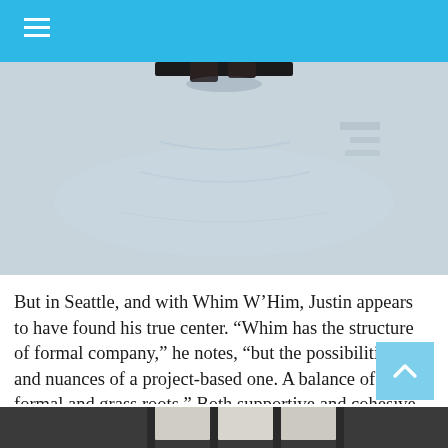[Figure (photo): Partial view of a dancer or person near a reflective floor surface, cropped at top of page]
But in Seattle, and with Whim W’Him, Justin appears to have found his true center. “Whim has the structure of formal company,” he notes, “but the possibilities and nuances of a project-based one. A balance of formal and grass roots.” Both supportive and cohesive, “It lights an artistic fire beneath my ass and makes a family security blanket.”    He pauses, and smiles. “It’s home, that’s for sure.”
[Figure (photo): Bottom portion of another photo, showing what appears to be a building or stage interior, partially visible at the bottom of the page]